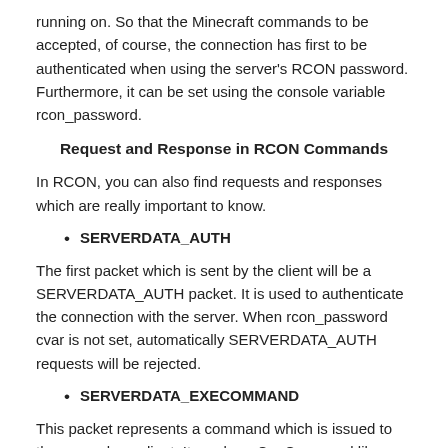running on. So that the Minecraft commands to be accepted, of course, the connection has first to be authenticated when using the server's RCON password. Furthermore, it can be set using the console variable rcon_password.
Request and Response in RCON Commands
In RCON, you can also find requests and responses which are really important to know.
SERVERDATA_AUTH
The first packet which is sent by the client will be a SERVERDATA_AUTH packet. It is used to authenticate the connection with the server. When rcon_password cvar is not set, automatically SERVERDATA_AUTH requests will be rejected.
SERVERDATA_EXECOMMAND
This packet represents a command which is issued to the server by a client. It can be a ConCommand like mp-switchteams or changelevel. This will vary based on the command issued.
SERVERDATA_AUTH_RESPONSE